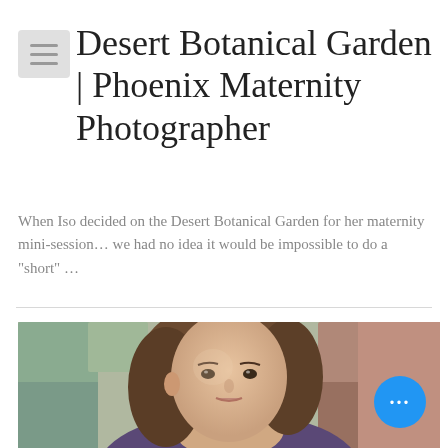Desert Botanical Garden | Phoenix Maternity Photographer
When Iso decided on the Desert Botanical Garden for her maternity mini-session… we had no idea it would be impossible to do a "short" …
[Figure (photo): Close-up portrait photo of a young woman with long brown hair, looking slightly off-camera, blurred colorful background. A blue circular button with three white dots appears in the lower right corner.]